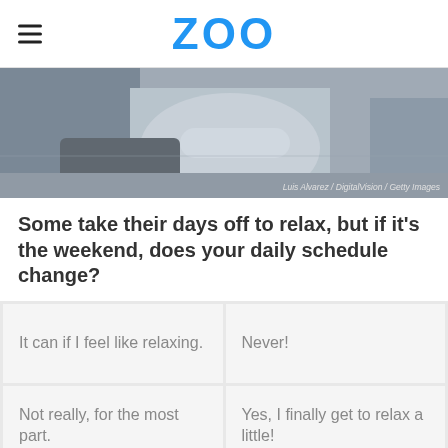ZOO
[Figure (photo): Grayscale photo of a person relaxing, possibly on a couch with legs up, viewed from behind/side. Photo credit: Luis Alvarez / DigitalVision / Getty Images]
Some take their days off to relax, but if it's the weekend, does your daily schedule change?
It can if I feel like relaxing.
Never!
Not really, for the most part.
Yes, I finally get to relax a little!